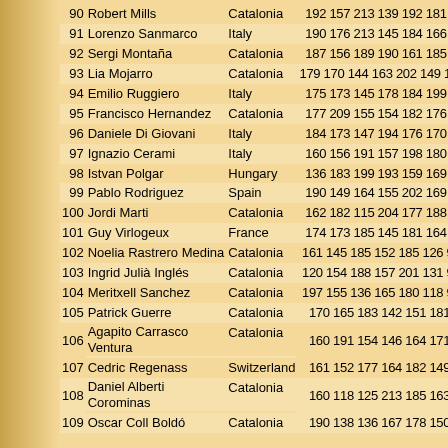| # | Name | Country | Scores | Total |
| --- | --- | --- | --- | --- |
| 90 | Robert Mills | Catalonia | 192 157 213 139 192 181 | 1074 0 |
| 91 | Lorenzo Sanmarco | Italy | 190 176 213 145 184 166 | 1074 0 |
| 92 | Sergi Montaña | Catalonia | 187 156 189 190 161 185 | 1068 0 |
| 93 | Lia Mojarro | Catalonia | 179 170 144 163 202 149 | 1007 48 |
| 94 | Emilio Ruggiero | Italy | 175 173 145 178 184 199 | 1054 0 |
| 95 | Francisco Hernandez | Catalonia | 177 209 155 154 182 176 | 1053 0 |
| 96 | Daniele Di Giovani | Italy | 184 173 147 194 176 170 | 1044 0 |
| 97 | Ignazio Cerami | Italy | 160 156 191 157 198 180 | 1042 0 |
| 98 | Istvan Polgar | Hungary | 136 183 199 193 159 169 | 1039 0 |
| 99 | Pablo Rodriguez | Spain | 190 149 164 155 202 169 | 1029 0 |
| 100 | Jordi Marti | Catalonia | 162 182 115 204 177 188 | 1028 0 |
| 101 | Guy Virlogeux | France | 174 173 185 145 181 164 | 1022 0 |
| 102 | Noelia Rastrero Medina | Catalonia | 161 145 185 152 185 126 | 954  48 |
| 103 | Ingrid Julià Inglés | Catalonia | 120 154 188 157 201 131 | 951  48 |
| 104 | Meritxell Sanchez | Catalonia | 197 155 136 165 180 118 | 951  48 |
| 105 | Patrick Guerre | Catalonia | 170 165 183 142 151 181 | 992  0 |
| 106 | Agapito Carrasco Ventura | Catalonia | 160 191 154 146 164 171 | 986  0 |
| 107 | Cedric Regenass | Switzerland | 161 152 177 164 182 149 | 985  0 |
| 108 | Daniel Alberti Corominas | Catalonia | 160 118 125 213 185 163 | 964  0 |
| 109 | Oscar Coll Boldó | Catalonia | 190 138 136 167 178 150 | 959  0 |